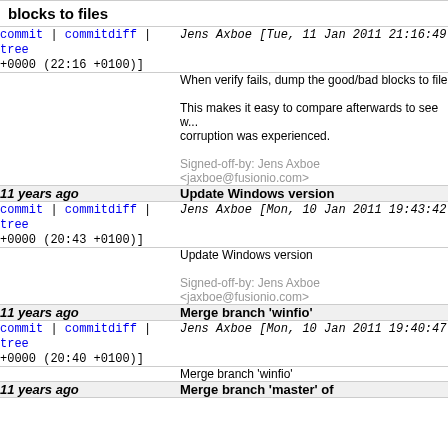blocks to files
commit | commitdiff | tree   Jens Axboe [Tue, 11 Jan 2011 21:16:49 +0000 (22:16 +0100)]
When verify fails, dump the good/bad blocks to file

This makes it easy to compare afterwards to see w... corruption was experienced.

Signed-off-by: Jens Axboe <jaxboe@fusionio.com>
11 years ago   Update Windows version
commit | commitdiff | tree   Jens Axboe [Mon, 10 Jan 2011 19:43:42 +0000 (20:43 +0100)]
Update Windows version

Signed-off-by: Jens Axboe <jaxboe@fusionio.com>
11 years ago   Merge branch 'winfio'
commit | commitdiff | tree   Jens Axboe [Mon, 10 Jan 2011 19:40:47 +0000 (20:40 +0100)]
Merge branch 'winfio'
11 years ago   Merge branch 'master' of